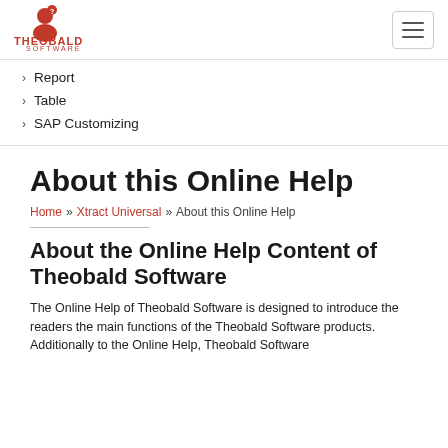[Figure (logo): Theobald Software logo — red figure icon above red THEOBALD SOFTWARE text]
› Report
› Table
› SAP Customizing
About this Online Help
Home » Xtract Universal » About this Online Help
About the Online Help Content of Theobald Software
The Online Help of Theobald Software is designed to introduce the readers the main functions of the Theobald Software products. Additionally to the Online Help, Theobald Software